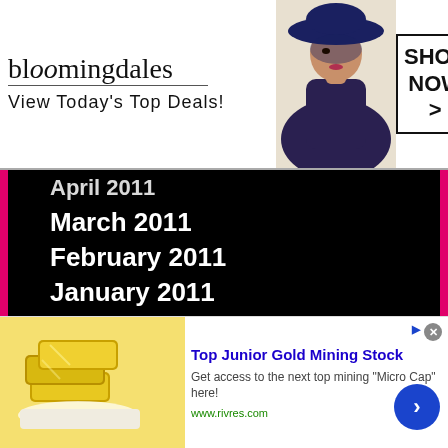[Figure (screenshot): Bloomingdales advertisement banner: logo with 'bloomingdales', text 'View Today's Top Deals!', model with hat, and 'SHOP NOW >' button in a box]
April 2011 (partially visible)
March 2011
February 2011
January 2011
December 2010
November 2010
October 2010
September 2010
August 2010
July 2010 (partially visible)
[Figure (screenshot): Bottom advertisement: 'Top Junior Gold Mining Stock' with gold bars image, description text, www.rivres.com URL, and arrow button]